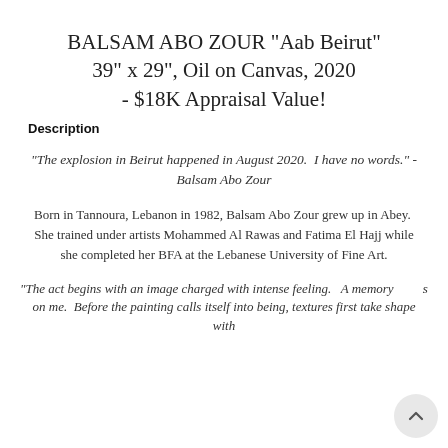BALSAM ABO ZOUR "Aab Beirut" 39" x 29", Oil on Canvas, 2020 - $18K Appraisal Value!
Description
"The explosion in Beirut happened in August 2020.  I have no words." - Balsam Abo Zour
Born in Tannoura, Lebanon in 1982, Balsam Abo Zour grew up in Abey.  She trained under artists Mohammed Al Rawas and Fatima El Hajj while she completed her BFA at the Lebanese University of Fine Art.
"The act begins with an image charged with intense feeling.   A memory... on me.  Before the painting calls itself into being, textures first take shape with